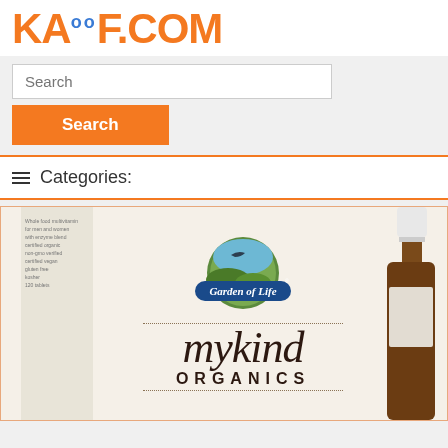KAUF.COM
[Figure (screenshot): KAUF.COM website screenshot showing a search bar with 'Search' placeholder, an orange Search button, a Categories navigation bar, and a product image showing Garden of Life mykind Organics box and a brown glass bottle]
≡ Categories: